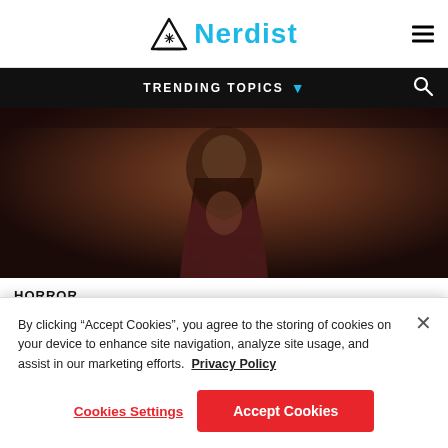Nerdist
TRENDING TOPICS
[Figure (photo): Dark moody image of a person in a dark hoodie/jacket with long hair, shot against a dark background]
HORROR
WINNIE THE POOH: BLOOD AND
By clicking “Accept Cookies”, you agree to the storing of cookies on your device to enhance site navigation, analyze site usage, and assist in our marketing efforts. Privacy Policy
Cookies Settings
Accept Cookies